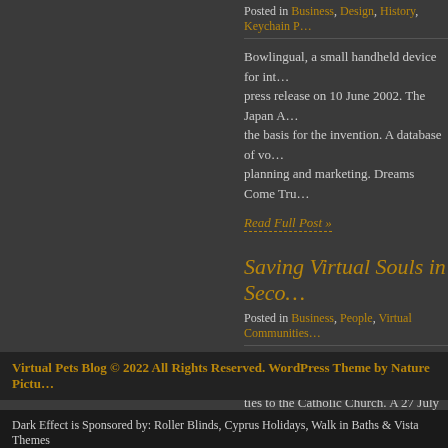Posted in Business, Design, History, Keychain P…
Bowlingual, a small handheld device for int… press release on 10 June 2002. The Japan A… the basis for the invention. A database of vo… planning and marketing. Dreams Come Tru…
Read Full Post »
Saving Virtual Souls in Seco…
Posted in Business, People, Virtual Communities…
The opportunity to save real souls by saving… ties to the Catholic Church. A 27 July 2007… Second Life. La Civilta Cattolica, a Jesuit jo… Antonio […]
Read Full Post »
Virtual Pets Blog © 2022 All Rights Reserved. WordPress Theme by Nature Pictu…
Dark Effect is Sponsored by: Roller Blinds, Cyprus Holidays, Walk in Baths & Vista Themes